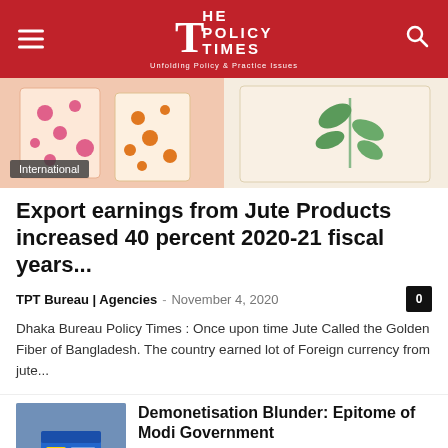THE POLICY TIMES — Unfolding Policy & Practice Issues
[Figure (photo): Hero image of colorful jute bags with polka dots and leaf patterns, with International badge overlay]
Export earnings from Jute Products increased 40 percent 2020-21 fiscal years...
TPT Bureau | Agencies  -  November 4, 2020
Dhaka Bureau Policy Times : Once upon time Jute Called the Golden Fiber of Bangladesh. The country earned lot of Foreign currency from jute...
[Figure (photo): Hand holding a credit/debit card thumbnail image for Demonetisation article]
Demonetisation Blunder: Epitome of Modi Government
April 20, 2017
[Figure (photo): Red-tinted crowd photo thumbnail for related article in Bengali]
অর্থনৈতিক সংকট: যা না বললে বাংলাদেশ থাকবে না, তাহলে কী হবে...